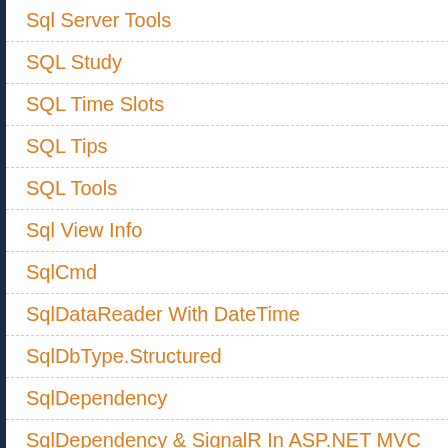Sql Server Tools
SQL Study
SQL Time Slots
SQL Tips
SQL Tools
Sql View Info
SqlCmd
SqlDataReader With DateTime
SqlDbType.Structured
SqlDependency
SqlDependency & SignalR In ASP.NET MVC
SqlLocalDB
SqlMetaData
SqlTableDependency
Squid
SSH